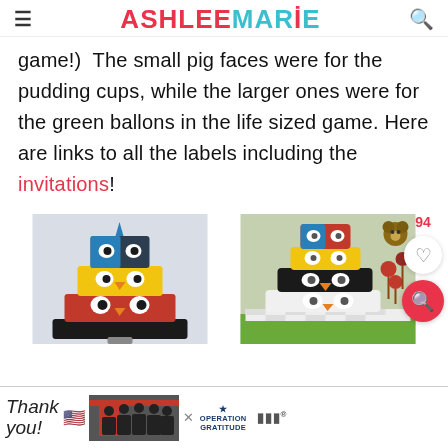ASHLEE MARIE
game!)  The small pig faces were for the pudding cups, while the larger ones were for the green ballons in the life sized game. Here are links to all the labels including the invitations!
[Figure (photo): Two Angry Birds themed tiered cakes side by side. Left cake shows stacked tiers decorated with Angry Birds characters in red, yellow, and black. Right cake shows similar setup on a party table with decorations.]
[Figure (infographic): Advertisement banner for Operation Gratitude featuring thank you note handwriting, American flag, group of firefighters, and Operation Gratitude logo.]